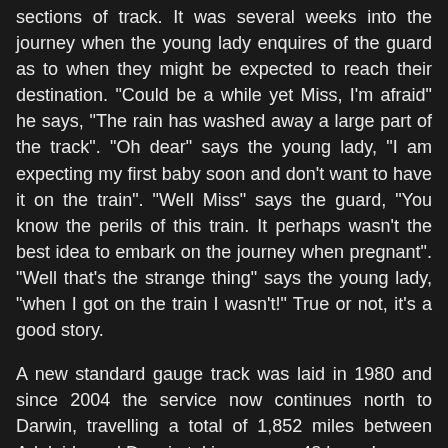sections of track. It was several weeks into the journey when the young lady enquires of the guard as to when they might be expected to reach their destination. "Could be a while yet Miss, I'm afraid" he says, "The rain has washed away a large part of the track". "Oh dear" says the young lady, "I am expecting my first baby soon and don't want to have it on the train". "Well Miss" says the guard, "You know the perils of this train. It perhaps wasn't the best idea to embark on the journey when pregnant". "Well that's the strange thing" says the young lady, "when I got on the train I wasn't!" True or not, it's a good story.
A new standard gauge track was laid in 1980 and since 2004 the service now continues north to Darwin, travelling a total of 1,852 miles between Adelaide and Darwin taking a mere 48 hours!
It was nearing midday and the train was expected at any moment, even though she wasn't due to depart until 2.30pm. Soon, the single headlight of the engine could be seen gleaming in the distance despite the glare of the relentless southern sun. As the rest of the train rounded the bend and